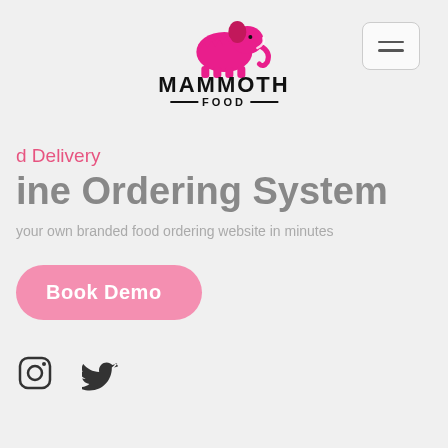[Figure (logo): Mammoth Food logo with pink mammoth elephant silhouette above bold text MAMMOTH FOOD]
[Figure (other): Hamburger menu button (three horizontal lines) in a rounded rectangle border]
d Delivery
ine Ordering System
your own branded food ordering website in minutes
Book Demo
[Figure (other): Instagram icon (circle with rounded square outline)]
[Figure (other): Twitter bird icon]